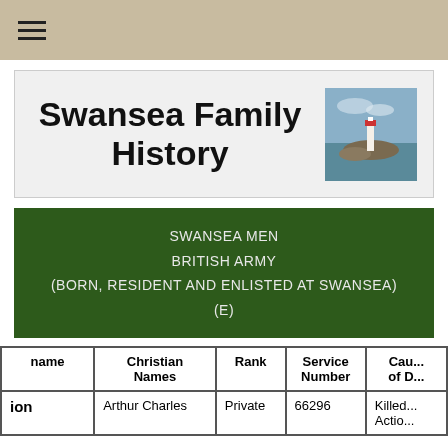≡ (navigation menu)
Swansea Family History
SWANSEA MEN
BRITISH ARMY
(BORN, RESIDENT AND ENLISTED AT SWANSEA)
(E)
| name | Christian Names | Rank | Service Number | Cause of D... |
| --- | --- | --- | --- | --- |
| ion | Arthur Charles | Private | 66296 | Killed... Actio... |